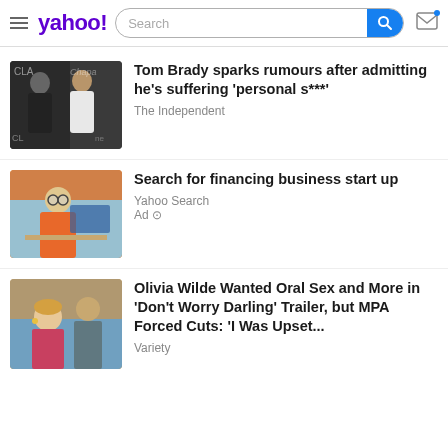yahoo! Search
[Figure (photo): Thumbnail photo of Tom Brady and Gisele Bundchen at an event]
Tom Brady sparks rumours after admitting he’s suffering ‘personal s***’
The Independent
[Figure (photo): Thumbnail photo of a person on the phone at a desk]
Search for financing business start up
Yahoo Search
Ad
[Figure (photo): Thumbnail photo of Olivia Wilde and Harry Styles]
Olivia Wilde Wanted Oral Sex and More in ‘Don’t Worry Darling’ Trailer, but MPA Forced Cuts: ‘I Was Upset...
Variety